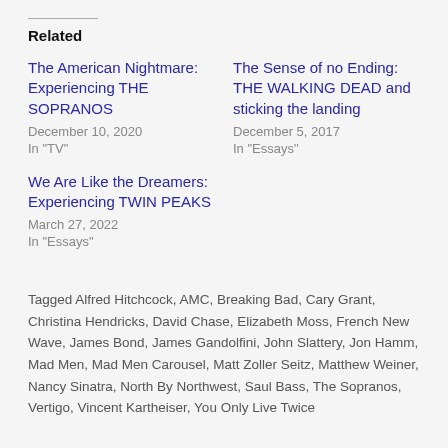Related
The American Nightmare: Experiencing THE SOPRANOS
December 10, 2020
In "TV"
The Sense of no Ending: THE WALKING DEAD and sticking the landing
December 5, 2017
In "Essays"
We Are Like the Dreamers: Experiencing TWIN PEAKS
March 27, 2022
In "Essays"
Tagged Alfred Hitchcock, AMC, Breaking Bad, Cary Grant, Christina Hendricks, David Chase, Elizabeth Moss, French New Wave, James Bond, James Gandolfini, John Slattery, Jon Hamm, Mad Men, Mad Men Carousel, Matt Zoller Seitz, Matthew Weiner, Nancy Sinatra, North By Northwest, Saul Bass, The Sopranos, Vertigo, Vincent Kartheiser, You Only Live Twice